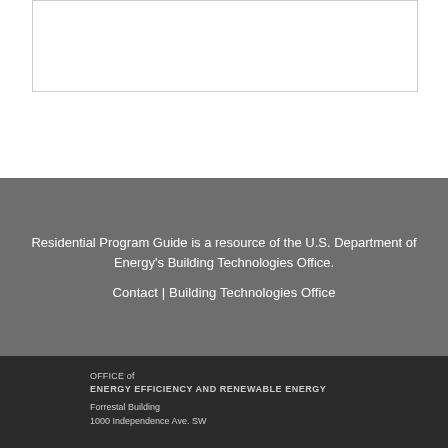Residential Program Guide is a resource of the U.S. Department of Energy's Building Technologies Office.
Contact | Building Technologies Office
OFFICE of
ENERGY EFFICIENCY AND RENEWABLE ENERGY
Forrestal Building
1000 Independence Ave. SW